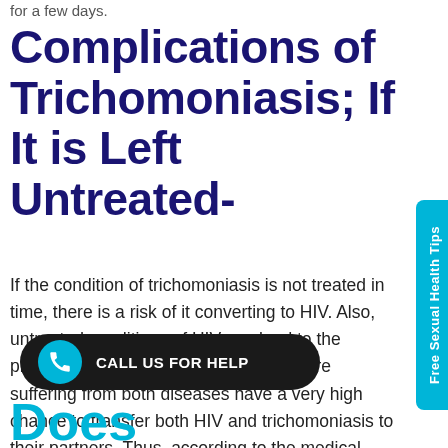for a few days.
Complications of Trichomoniasis; If It is Left Untreated-
If the condition of trichomoniasis is not treated in time, there is a risk of it converting to HIV. Also, untreated conditions of HIV can lead to the problem of AIDS. So, the women who are suffering from both diseases have a very high chance to transfer both HIV and trichomoniasis to their partners. Thus, according to the medical association, every woman should go through a test of HIV and trichomoniasis
Free Sexual Health Tips
CALL US FOR HELP
Does